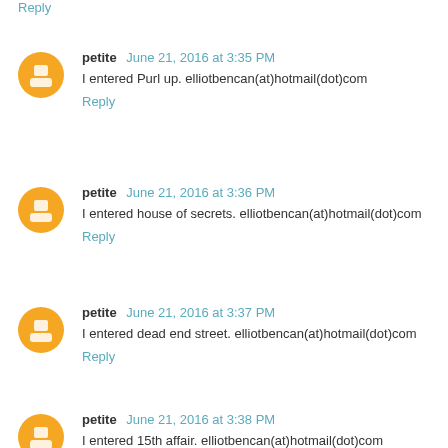Reply
petite  June 21, 2016 at 3:35 PM
I entered Purl up. elliotbencan(at)hotmail(dot)com
Reply
petite  June 21, 2016 at 3:36 PM
I entered house of secrets. elliotbencan(at)hotmail(dot)com
Reply
petite  June 21, 2016 at 3:37 PM
I entered dead end street. elliotbencan(at)hotmail(dot)com
Reply
petite  June 21, 2016 at 3:38 PM
I entered 15th affair. elliotbencan(at)hotmail(dot)com